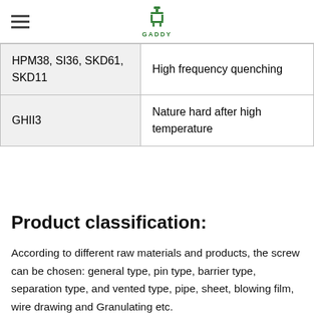GADDY
| HPM38, SI36, SKD61, SKD11 | High frequency quenching |
| GHII3 | Nature hard after high temperature |
Product classification:
According to different raw materials and products, the screw can be chosen: general type, pin type, barrier type, separation type, and vented type, pipe, sheet, blowing film, wire drawing and Granulating etc.
Single screw extrusion screw barrel can be applied to PP, PE, PC, ABS, PC, PMMA, PVC, TPU and other...